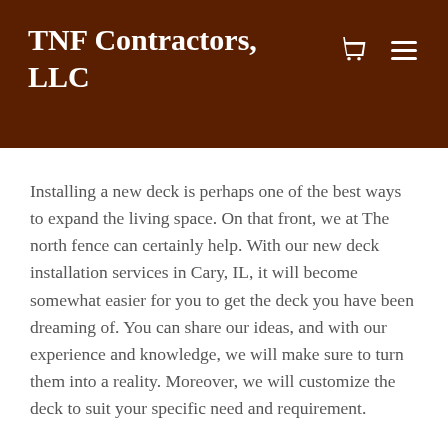TNF Contractors, LLC
Installing a new deck is perhaps one of the best ways to expand the living space. On that front, we at The north fence can certainly help. With our new deck installation services in Cary, IL, it will become somewhat easier for you to get the deck you have been dreaming of. You can share our ideas, and with our experience and knowledge, we will make sure to turn them into a reality. Moreover, we will customize the deck to suit your specific need and requirement.
Our services are not just limited to deck installation. On the contrary, we can also help you with deck repair and installation services in Cary, IL. Being professionals, we